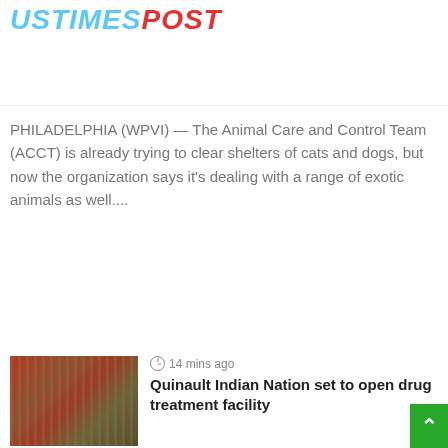USTIMESPOST
PHILADELPHIA (WPVI) — The Animal Care and Control Team (ACCT) is already trying to clear shelters of cats and dogs, but now the organization says it's dealing with a range of exotic animals as well....
Read More »
[Figure (photo): Exterior of a building with people gathered outside, red and wood-paneled facade]
14 mins ago
Quinault Indian Nation set to open drug treatment facility
[Figure (photo): Person in dark suit wearing a face mask standing outdoors]
42 mins ago
California lawmakers OK buffer zones for new oil wells
[Figure (photo): Radio tower or oil drilling equipment against bright sky]
45 mins ago
No Fun in the California Sun